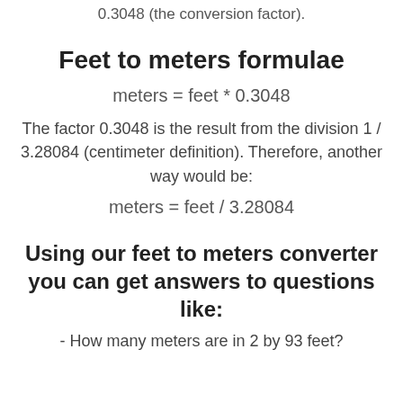0.3048 (the conversion factor).
Feet to meters formulae
The factor 0.3048 is the result from the division 1 / 3.28084 (centimeter definition). Therefore, another way would be:
Using our feet to meters converter you can get answers to questions like:
- How many meters are in 2 by 93 feet?